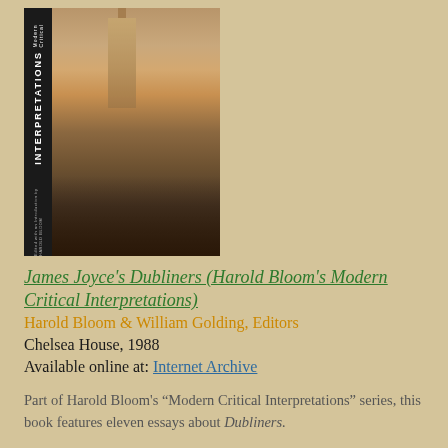[Figure (illustration): Book cover of James Joyce's Dubliners (Harold Bloom's Modern Critical Interpretations), showing a dark painting of a city street scene with a tall tower/cathedral in the background and crowds below. The spine text reads 'Modern Critical INTERPRETATIONS' edited with introduction by Harold Bloom.]
James Joyce's Dubliners (Harold Bloom's Modern Critical Interpretations)
Harold Bloom & William Golding, Editors
Chelsea House, 1988
Available online at: Internet Archive
Part of Harold Bloom's “Modern Critical Interpretations” series, this book features eleven essays about Dubliners.
Publisher’s Description: According to Bloom, James Joyce’s Dubliners is sympathetically inclined and...